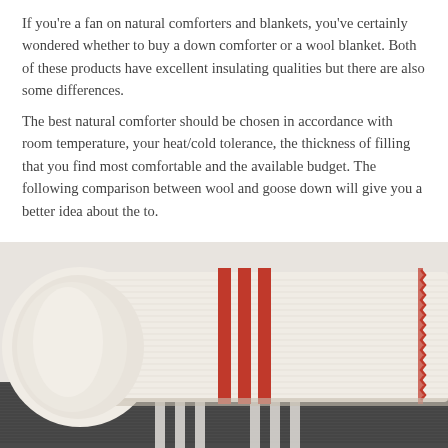If you're a fan on natural comforters and blankets, you've certainly wondered whether to buy a down comforter or a wool blanket. Both of these products have excellent insulating qualities but there are also some differences.
The best natural comforter should be chosen in accordance with room temperature, your heat/cold tolerance, the thickness of filling that you find most comfortable and the available budget. The following comparison between wool and goose down will give you a better idea about the to.
[Figure (photo): Two folded wool blankets stacked on top of each other. The top blanket is cream/off-white with red stripes running lengthwise and red zigzag stitching along the right edge. The bottom blanket is dark charcoal/grey with white stripes.]